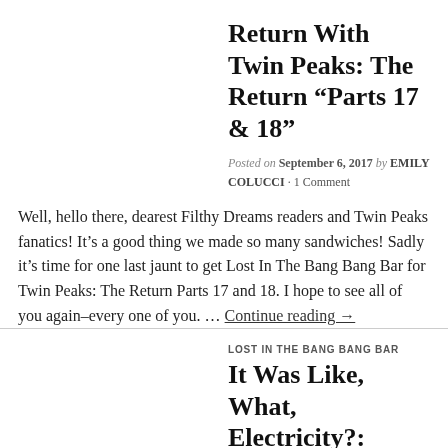Return With Twin Peaks: The Return “Parts 17 & 18”
Posted on September 6, 2017 by EMILY COLUCCI · 1 Comment
Well, hello there, dearest Filthy Dreams readers and Twin Peaks fanatics! It’s a good thing we made so many sandwiches! Sadly it’s time for one last jaunt to get Lost In The Bang Bang Bar for Twin Peaks: The Return Parts 17 and 18. I hope to see all of you again–every one of you. … Continue reading →
LOST IN THE BANG BANG BAR
It Was Like, What, Electricity?: Wallowing In Saudade In Twin Peaks: The Return “Part